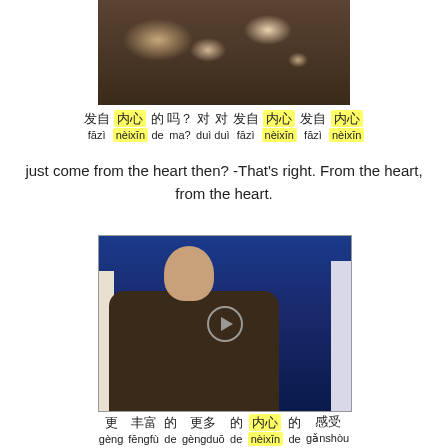[Figure (photo): Photo of food on a table including bread, plates, and a drink]
发自 内心 的 吗？ 对 对 发自 内心 发自 内心
fāzì nèixīn de ma? duì duì fāzì nèixīn fāzì nèixīn
just come from the heart then? -That's right. From the heart, from the heart.
[Figure (photo): Video screenshot of a bald man wearing a brown leather jacket, seated in a blue-background setting with a play button overlay]
更 丰富 的 更多 的 内心 的 感受
gèng fēngfù de gèngduō de nèixīn de gǎnshòu
对生 活 的 体会
duìshēng huó de tǐhuì
richer and more personal feelings, an understanding